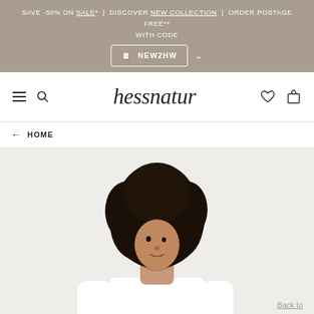SAVE -50% ON SALE* | DISCOVER NEW COLLECTION | ORDER POSTAGE FREE** WITH CODE NEW2HW
hessnatur
← HOME
[Figure (photo): Woman with curly hair wearing a white long-sleeve top, photographed against a light grey background]
Back to top